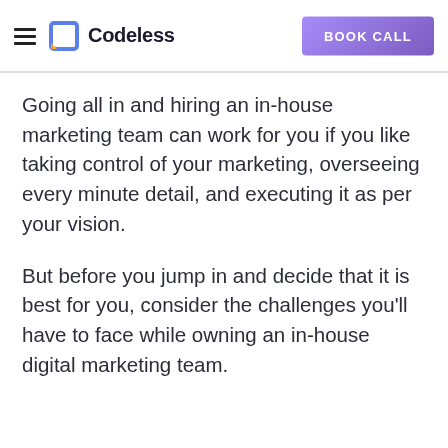Codeless | BOOK CALL
Going all in and hiring an in-house marketing team can work for you if you like taking control of your marketing, overseeing every minute detail, and executing it as per your vision.
But before you jump in and decide that it is best for you, consider the challenges you'll have to face while owning an in-house digital marketing team.